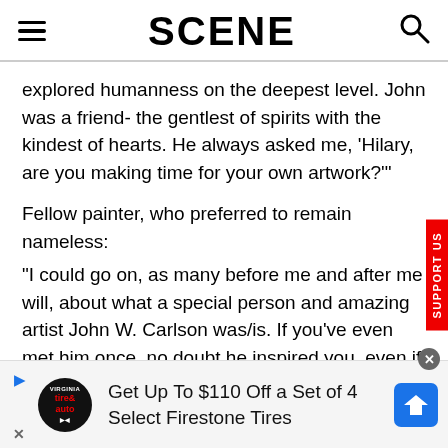SCENE
explored humanness on the deepest level. John was a friend- the gentlest of spirits with the kindest of hearts. He always asked me, 'Hilary, are you making time for your own artwork?'"
Fellow painter, who preferred to remain nameless:
“I could go on, as many before me and after me will, about what a special person and amazing artist John W. Carlson was/is. If you’ve even met him once, no doubt he inspired you, even if just for that moment, to be kinder, happier, or more excited about something, he just had that way. If
[Figure (infographic): Advertisement banner: Get Up To $110 Off a Set of 4 Select Firestone Tires]